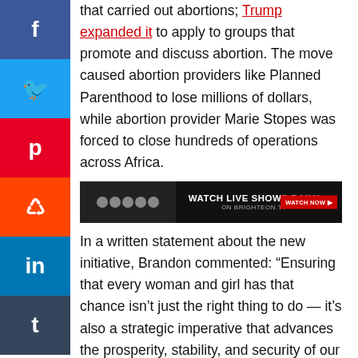that carried out abortions; Trump expanded it to apply to groups that promote and discuss abortion. The move caused abortion providers like Planned Parenthood to lose millions of dollars, while abortion provider Marie Stopes was forced to close hundreds of operations across Africa.
[Figure (screenshot): Advertisement banner: WATCH LIVE SHOWS DAILY ON BRIGHTEON.TV with WATCH NOW button]
In a written statement about the new initiative, Brandon commented: “Ensuring that every woman and girl has that chance isn’t just the right thing to do — it’s also a strategic imperative that advances the prosperity, stability, and security of our nation and the world.